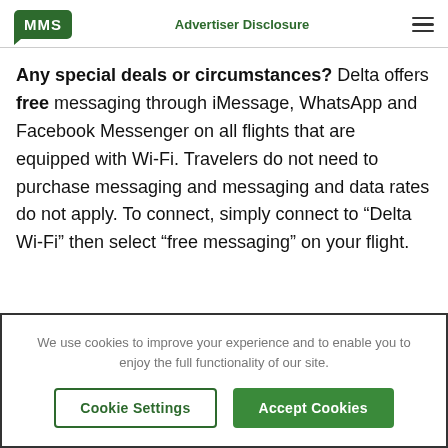MMS | Advertiser Disclosure
Any special deals or circumstances? Delta offers free messaging through iMessage, WhatsApp and Facebook Messenger on all flights that are equipped with Wi-Fi. Travelers do not need to purchase messaging and messaging and data rates do not apply. To connect, simply connect to “Delta Wi-Fi” then select “free messaging” on your flight.
We use cookies to improve your experience and to enable you to enjoy the full functionality of our site.